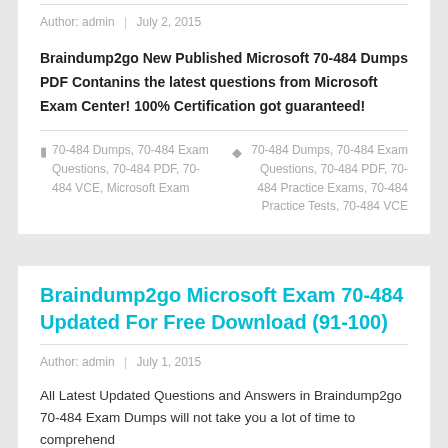Author: admin  |  July 2, 2015
Braindump2go New Published Microsoft 70-484 Dumps PDF Contanins the latest questions from Microsoft Exam Center! 100% Certification got guaranteed!
70-484 Dumps, 70-484 Exam Questions, 70-484 PDF, 70-484 VCE, Microsoft Exam   70-484 Dumps, 70-484 Exam Questions, 70-484 PDF, 70-484 Practice Exams, 70-484 Practice Tests, 70-484 VCE
Braindump2go Microsoft Exam 70-484 Updated For Free Download (91-100)
Author: admin  |  July 1, 2015
All Latest Updated Questions and Answers in Braindump2go 70-484 Exam Dumps will not take you a lot of time to comprehend